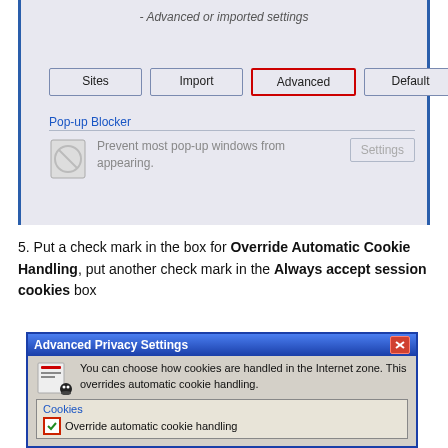[Figure (screenshot): Internet Explorer Privacy settings dialog showing Sites, Import, Advanced (highlighted with red border), and Default buttons, plus Pop-up Blocker section]
5. Put a check mark in the box for Override Automatic Cookie Handling, put another check mark in the Always accept session cookies box
[Figure (screenshot): Advanced Privacy Settings dialog box showing cookie handling options with Override automatic cookie handling checkbox checked (red border), Cookies section]